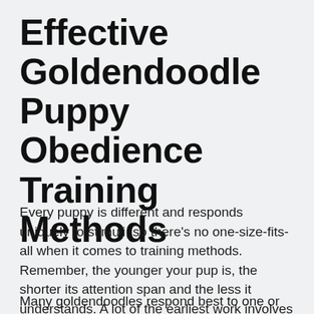Effective Goldendoodle Puppy Obedience Training Methods
Every puppy is different and responds uniquely to stimuli, so there's no one-size-fits-all when it comes to training methods. Remember, the younger your pup is, the shorter its attention span and the less it understands. A lot of the earliest work involves planting seeds for the future and maintaining that consistent routine. Once it gets to four to six months, it's time to introduce more formal training.
Many goldendoodles respond best to one or